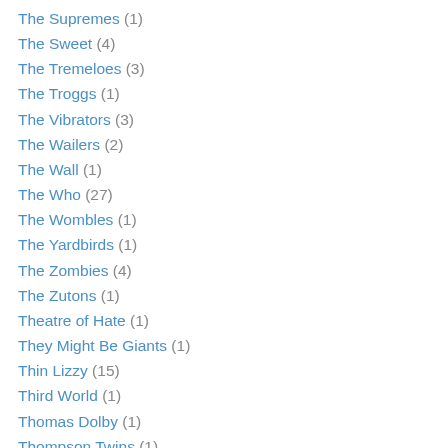The Supremes (1)
The Sweet (4)
The Tremeloes (3)
The Troggs (1)
The Vibrators (3)
The Wailers (2)
The Wall (1)
The Who (27)
The Wombles (1)
The Yardbirds (1)
The Zombies (4)
The Zutons (1)
Theatre of Hate (1)
They Might Be Giants (1)
Thin Lizzy (15)
Third World (1)
Thomas Dolby (1)
Thompson Twins (1)
Thunder (1)
Tiger (1)